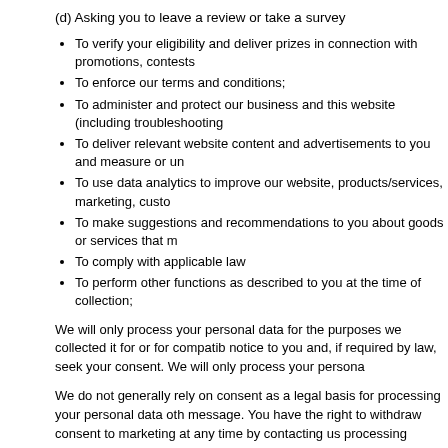(d) Asking you to leave a review or take a survey
To verify your eligibility and deliver prizes in connection with promotions, contests
To enforce our terms and conditions;
To administer and protect our business and this website (including troubleshooting
To deliver relevant website content and advertisements to you and measure or un
To use data analytics to improve our website, products/services, marketing, custo
To make suggestions and recommendations to you about goods or services that m
To comply with applicable law
To perform other functions as described to you at the time of collection;
We will only process your personal data for the purposes we collected it for or for compatib notice to you and, if required by law, seek your consent. We will only process your persona
We do not generally rely on consent as a legal basis for processing your personal data oth message. You have the right to withdraw consent to marketing at any time by contacting us processing without your prior consent.
We will get your express opt-in consent before we share your personal data with any comp
Opting Out
You can ask us or third parties to stop sending you marketing messages at any time by co
Where you opt out of receiving these marketing messages, this will not apply to personal d experience or other transactions.
Cookies
You can set your browser to refuse all or some browser cookies, or to alert you when webs website may become inaccessible or not function properly. For more information about th